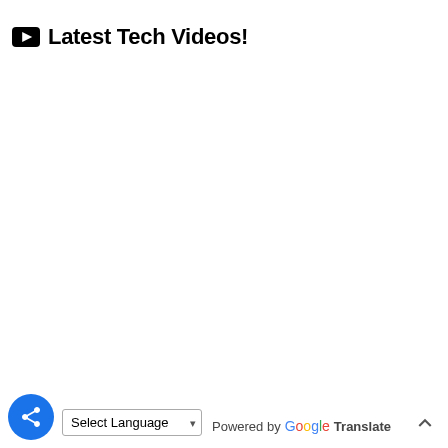Latest Tech Videos!
Select Language  Powered by Google Translate